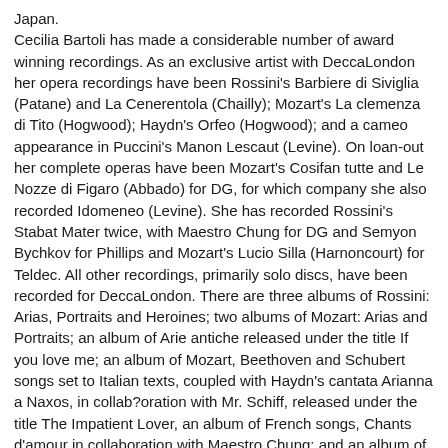Japan.
Cecilia Bartoli has made a considerable number of award winning recordings. As an exclusive artist with DeccaLondon her opera recordings have been Rossini's Barbiere di Siviglia (Patane) and La Cenerentola (Chailly); Mozart's La clemenza di Tito (Hogwood); Haydn's Orfeo (Hogwood); and a cameo appearance in Puccini's Manon Lescaut (Levine). On loan-out her complete operas have been Mozart's Cosifan tutte and Le Nozze di Figaro (Abbado) for DG, for which company she also recorded Idomeneo (Levine). She has recorded Rossini's Stabat Mater twice, with Maestro Chung for DG and Semyon Bychkov for Phillips and Mozart's Lucio Silla (Harnoncourt) for Teldec. All other recordings, primarily solo discs, have been recorded for DeccaLondon. There are three albums of Rossini: Arias, Portraits and Heroines; two albums of Mozart: Arias and Portraits; an album of Arie antiche released under the title If you love me; an album of Mozart, Beethoven and Schubert songs set to Italian texts, coupled with Haydn's cantata Arianna a Naxos, in collab?oration with Mr. Schiff, released under the title The Impatient Lover, an album of French songs, Chants d'amour in collaboration with Maestro Chung; and an album of Pergolesi's Stabat Mater (Dutoit) and the Mozart Requiem (Solti).
This may one …